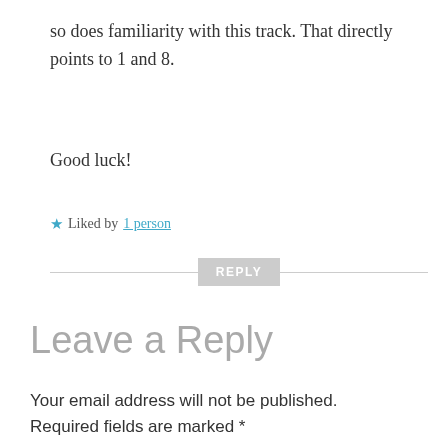so does familiarity with this track. That directly points to 1 and 8.
Good luck!
★ Liked by 1 person
REPLY
Leave a Reply
Your email address will not be published. Required fields are marked *